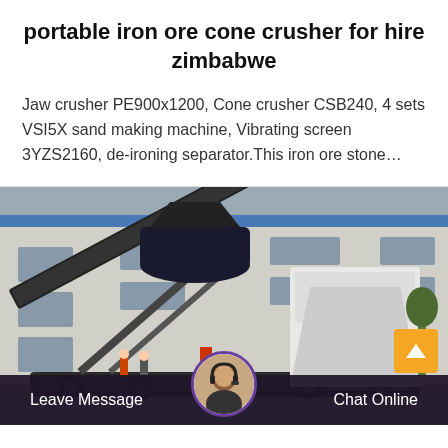portable iron ore cone crusher for hire zimbabwe
Jaw crusher PE900x1200, Cone crusher CSB240, 4 sets VSI5X sand making machine, Vibrating screen 3YZS2160, de-ironing separator.This iron ore stone…
[Figure (photo): Portable cone crusher machine parked in front of an industrial building. The machine is mounted on tracks and has a large conveyor belt angled upward with a cone crusher unit visible.]
Leave Message   Chat Online